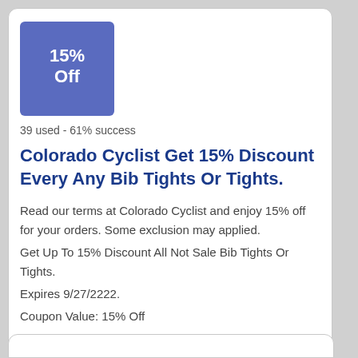[Figure (other): Blue square badge showing '15% Off' discount label]
39 used - 61% success
Colorado Cyclist Get 15% Discount Every Any Bib Tights Or Tights.
Read our terms at Colorado Cyclist and enjoy 15% off for your orders. Some exclusion may applied.
Get Up To 15% Discount All Not Sale Bib Tights Or Tights.
Expires 9/27/2222.
Coupon Value: 15% Off
Coupon code: SHOW COUPON CODE